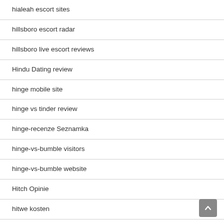hialeah escort sites
hillsboro escort radar
hillsboro live escort reviews
Hindu Dating review
hinge mobile site
hinge vs tinder review
hinge-recenze Seznamka
hinge-vs-bumble visitors
hinge-vs-bumble website
Hitch Opinie
hitwe kosten
hitwe review
hitwe sito di incontri